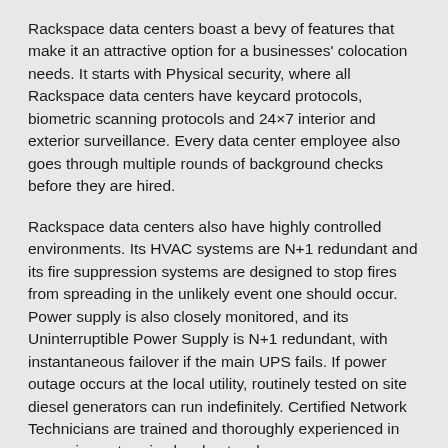Rackspace data centers boast a bevy of features that make it an attractive option for a businesses' colocation needs. It starts with Physical security, where all Rackspace data centers have keycard protocols, biometric scanning protocols and 24×7 interior and exterior surveillance. Every data center employee also goes through multiple rounds of background checks before they are hired.
Rackspace data centers also have highly controlled environments. Its HVAC systems are N+1 redundant and its fire suppression systems are designed to stop fires from spreading in the unlikely event one should occur. Power supply is also closely monitored, and its Uninterruptible Power Supply is N+1 redundant, with instantaneous failover if the main UPS fails. If power outage occurs at the local utility, routinely tested on site diesel generators can run indefinitely. Certified Network Technicians are trained and thoroughly experienced in managing enterprise level networks.